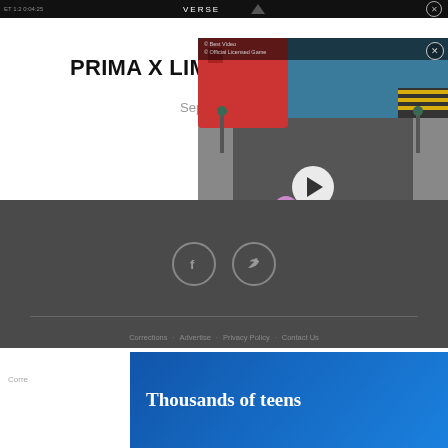[Figure (screenshot): Top dark video banner strip with timestamp and VERSE text, close button]
PRIMA X LIMITED RUN:
September 2
[Figure (screenshot): Floating video player showing a 3D game scene with colorful characters on a city street, play button overlay, close button, and top info bar]
[Figure (infographic): Carousel navigation dots: one red filled dot followed by several empty circle dots]
[Figure (infographic): Footer with dark grey background, Facebook and Twitter social icons in circles, horizontal divider line]
Corrections · Advertise · Privacy Policy · Contact Us
[Figure (screenshot): Blue advertisement banner at bottom with bold white text 'Thousands of teens' and a close button]